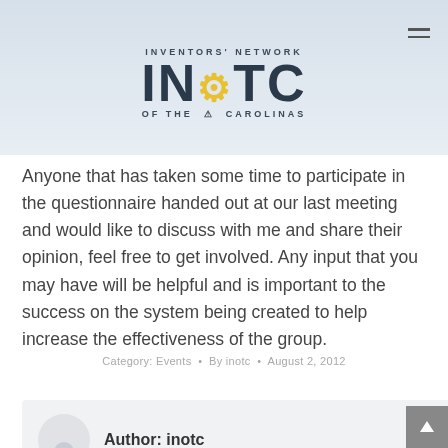[Figure (logo): INOTC Inventors Network of the Carolinas logo with lightbulb icon on a blue-gray ribbon banner background]
Anyone that has taken some time to participate in the questionnaire handed out at our last meeting and would like to discuss with me and share their opinion, feel free to get involved. Any input that you may have will be helpful and is important to the success on the system being created to help increase the effectiveness of the group.
Category: Events  •  By inotc  •  August 2, 2012
Author: inotc